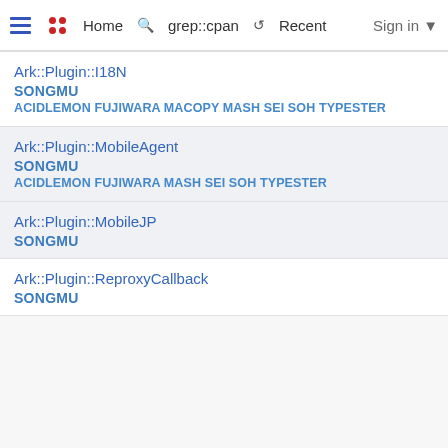≡  Home  grep::cpan  Recent  Sign in
Ark::Plugin::I18N
SONGMU
ACIDLEMON FUJIWARA MACOPY MASH SEI SOH TYPESTER
Ark::Plugin::MobileAgent
SONGMU
ACIDLEMON FUJIWARA MASH SEI SOH TYPESTER
Ark::Plugin::MobileJP
SONGMU
Ark::Plugin::ReproxyCallback
SONGMU